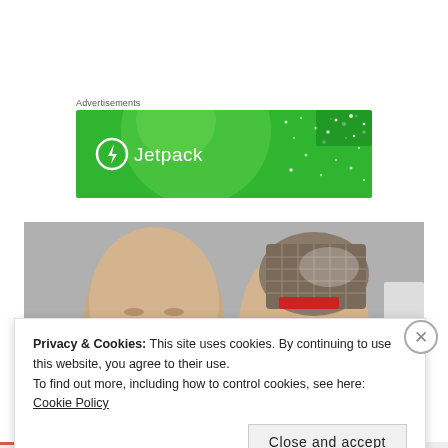Advertisements
[Figure (logo): Jetpack advertisement banner with green background, large translucent circle, stars/dots pattern, and Jetpack logo with lightning bolt icon and white text]
[Figure (photo): Two humanoid robot faces in profile view, one showing metallic mesh structure on top of head]
Privacy & Cookies: This site uses cookies. By continuing to use this website, you agree to their use.
To find out more, including how to control cookies, see here: Cookie Policy
Close and accept